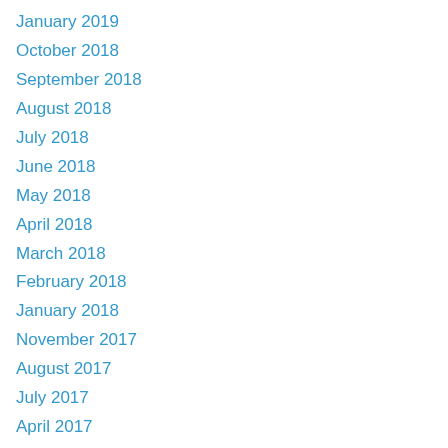January 2019
October 2018
September 2018
August 2018
July 2018
June 2018
May 2018
April 2018
March 2018
February 2018
January 2018
November 2017
August 2017
July 2017
April 2017
February 2017
December 2016
October 2016
September 2016
August 2016